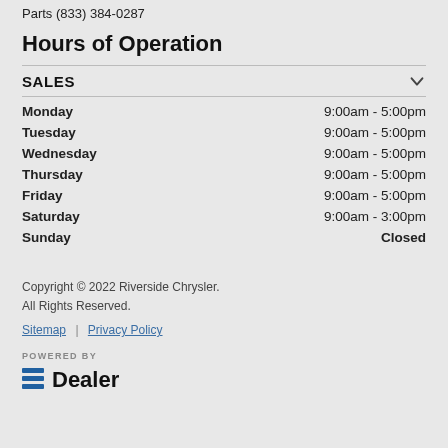Parts (833) 384-0287
Hours of Operation
SALES
| Day | Hours |
| --- | --- |
| Monday | 9:00am - 5:00pm |
| Tuesday | 9:00am - 5:00pm |
| Wednesday | 9:00am - 5:00pm |
| Thursday | 9:00am - 5:00pm |
| Friday | 9:00am - 5:00pm |
| Saturday | 9:00am - 3:00pm |
| Sunday | Closed |
Copyright © 2022 Riverside Chrysler. All Rights Reserved.
Sitemap | Privacy Policy
POWERED BY EDealer